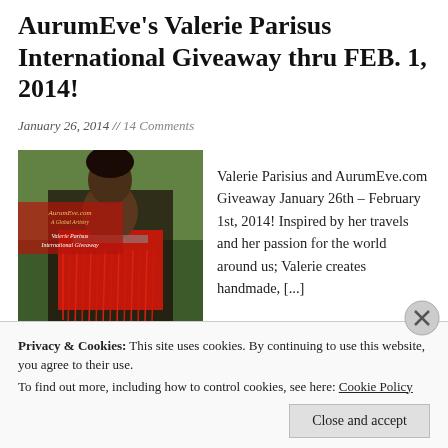AurumEve's Valerie Parisus International Giveaway thru FEB. 1, 2014!
January 26, 2014 // 14 Comments
[Figure (photo): Photo of a woman wearing a red fringe top with text overlay reading AurumEve.com - A Global Artistry, Valerie Parisus International Giveaway]
Valerie Parisius and AurumEve.com Giveaway January 26th – February 1st, 2014! Inspired by her travels and her passion for the world around us; Valerie creates handmade, [...]
Privacy & Cookies: This site uses cookies. By continuing to use this website, you agree to their use.
To find out more, including how to control cookies, see here: Cookie Policy